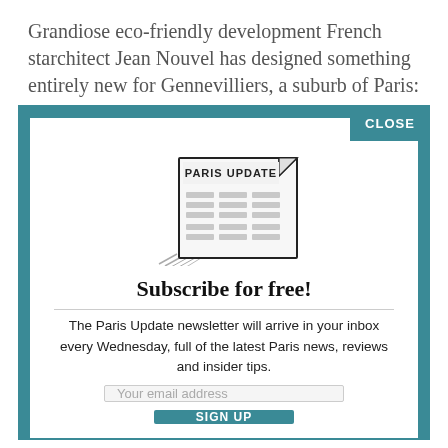Grandiose eco-friendly development French starchitect Jean Nouvel has designed something entirely new for Gennevilliers, a suburb of Paris:
[Figure (illustration): Sketch illustration of a newspaper with header 'PARIS UPDATE' and columns of text lines below it, with a corner fold.]
Subscribe for free!
The Paris Update newsletter will arrive in your inbox every Wednesday, full of the latest Paris news, reviews and insider tips.
Your email address
SIGN UP